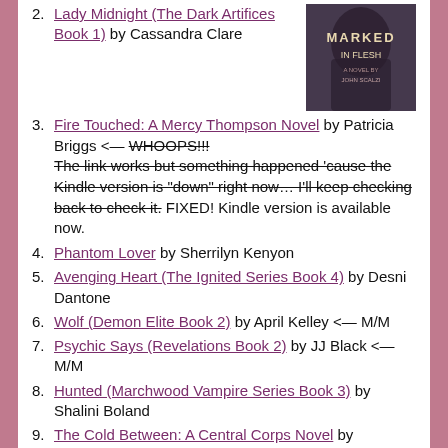2. Lady Midnight (The Dark Artifices Book 1) by Cassandra Clare
[Figure (photo): Book cover of 'Marked in Flesh' showing a dark moody image with text]
3. Fire Touched: A Mercy Thompson Novel by Patricia Briggs <— WHOOPS!!! The link works but something happened 'cause the Kindle version is "down" right now… I'll keep checking back to check it. FIXED! Kindle version is available now.
4. Phantom Lover by Sherrilyn Kenyon
5. Avenging Heart (The Ignited Series Book 4) by Desni Dantone
6. Wolf (Demon Elite Book 2) by April Kelley <— M/M
7. Psychic Says (Revelations Book 2) by JJ Black <— M/M
8. Hunted (Marchwood Vampire Series Book 3) by Shalini Boland
9. The Cold Between: A Central Corps Novel by Elizabeth Bonesteel